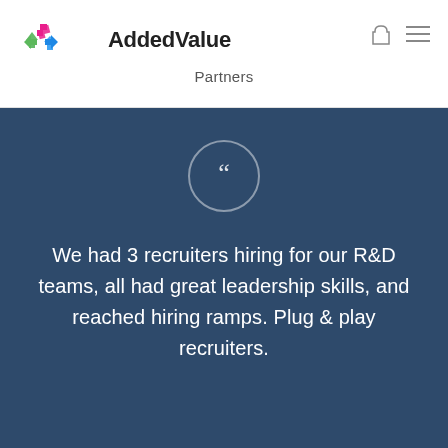AddedValue
Partners
We had 3 recruiters hiring for our R&D teams, all had great leadership skills, and reached hiring ramps. Plug & play recruiters.